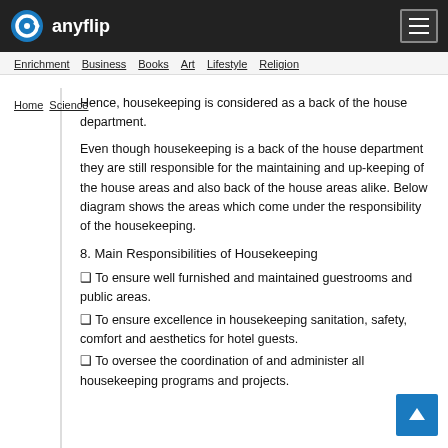anyflip
Enrichment  Business  Books  Art  Lifestyle  Religion  Home  Science
Hence, housekeeping is considered as a back of the house department.
Even though housekeeping is a back of the house department they are still responsible for the maintaining and up-keeping of the house areas and also back of the house areas alike. Below diagram shows the areas which come under the responsibility of the housekeeping.
8. Main Responsibilities of Housekeeping
❑ To ensure well furnished and maintained guestrooms and public areas.
❑ To ensure excellence in housekeeping sanitation, safety, comfort and aesthetics for hotel guests.
❑ To oversee the coordination of and administer all housekeeping programs and projects.